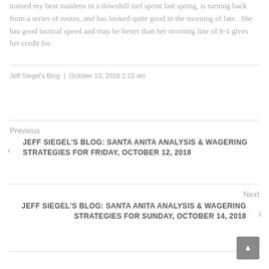trained my beat maidens in a downhill turf sprint last spring, is turning back from a series of routes, and has looked quite good in the morning of late.  She has good tactical speed and may be better than her morning line of 8-1 gives her credit for.
Jeff Siegel's Blog | October 13, 2018 1:15 am
Previous JEFF SIEGEL'S BLOG: SANTA ANITA ANALYSIS & WAGERING STRATEGIES FOR FRIDAY, OCTOBER 12, 2018
Next JEFF SIEGEL'S BLOG: SANTA ANITA ANALYSIS & WAGERING STRATEGIES FOR SUNDAY, OCTOBER 14, 2018